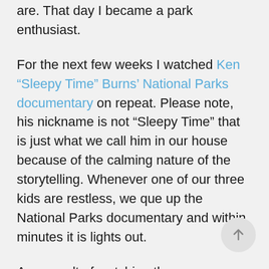are. That day I became a park enthusiast.
For the next few weeks I watched Ken "Sleepy Time" Burns' National Parks documentary on repeat. Please note, his nickname is not “Sleepy Time” that is just what we call him in our house because of the calming nature of the storytelling. Whenever one of our three kids are restless, we que up the National Parks documentary and within minutes it is lights out.
As a result of watching the documentary, I became more and more excited about visiting more parks, which has become a personal goal. I